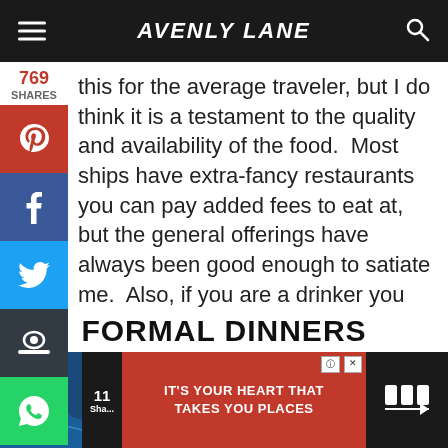AVENLY LANE
this for the average traveler, but I do think it is a testament to the quality and availability of the food.  Most ships have extra-fancy restaurants you can pay added fees to eat at, but the general offerings have always been good enough to satiate me.  Also, if you are a drinker you should consider the all you can drink package, and also enjoy not having to worry about finding a designated driver.
FORMAL DINNERS
[Figure (infographic): Advertisement banner at bottom: red section with text IT'S YOUR HEART THAT TAKES YOU PLACES, with cruise ship image on left side]